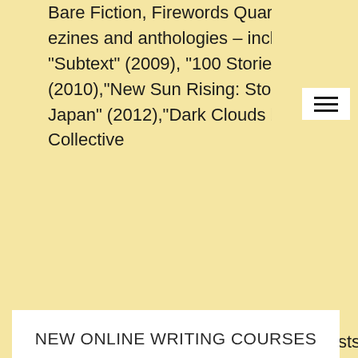Bare Fiction, Firewords Quarterly), ezines and anthologies – including: "Subtext" (2009), "100 Stories Haiti" (2010),"New Sun Rising: Stories for Japan" (2012),"Dark Clouds by Collective
3), "Stories gy (2013), gy "Eating My oming story hank Books, Fish ction 2013. t Prize Flash rs' and Artists' Flash Fiction 2013
NEW ONLINE WRITING COURSES
Sign up for email updates from Litro and be the first to know about upcoming Masterclass courses